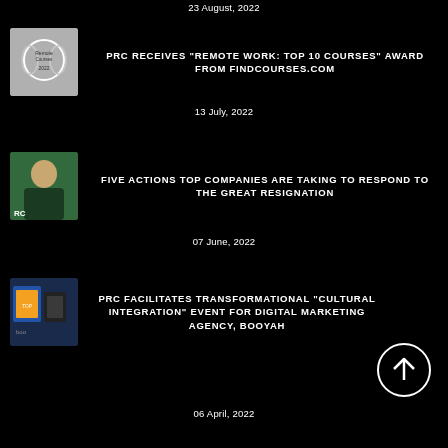23 August, 2022
[Figure (logo): Award badge logo for Remote Work Top 10 Courses]
PRC RECEIVES "REMOTE WORK: TOP 10 COURSES" AWARD FROM FINDCOURSES.COM
13 July, 2022
[Figure (photo): Photo of a person in a dark background with RC text]
FIVE ACTIONS TOP COMPANIES ARE TAKING TO RESPOND TO THE GREAT RESIGNATION
07 June, 2022
[Figure (photo): Book cover image with top books]
PRC FACILITATES TRANSFORMATIONAL "CULTURAL INTEGRATION" EVENT FOR DIGITAL MARKETING AGENCY, BOOYAH
06 April, 2022